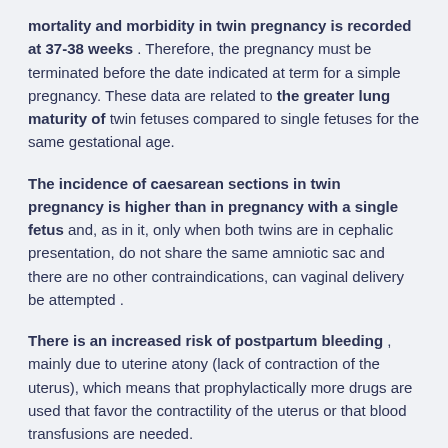mortality and morbidity in twin pregnancy is recorded at 37-38 weeks. Therefore, the pregnancy must be terminated before the date indicated at term for a simple pregnancy. These data are related to the greater lung maturity of twin fetuses compared to single fetuses for the same gestational age.
The incidence of caesarean sections in twin pregnancy is higher than in pregnancy with a single fetus and, as in it, only when both twins are in cephalic presentation, do not share the same amniotic sac and there are no other contraindications, can vaginal delivery be attempted.
There is an increased risk of postpartum bleeding, mainly due to uterine atony (lack of contraction of the uterus), which means that prophylactically more drugs are used that favor the contractility of the uterus or that blood transfusions are needed.